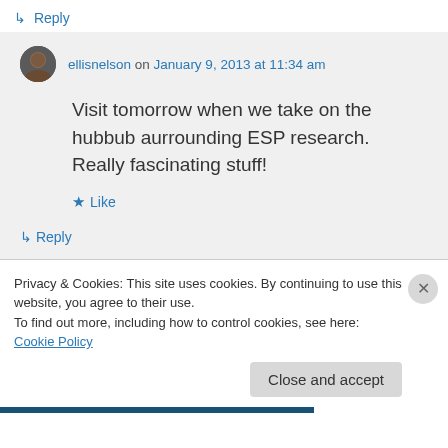↳ Reply
ellisnelson on January 9, 2013 at 11:34 am
Visit tomorrow when we take on the hubbub aurrounding ESP research. Really fascinating stuff!
★ Like
↳ Reply
Privacy & Cookies: This site uses cookies. By continuing to use this website, you agree to their use.
To find out more, including how to control cookies, see here: Cookie Policy
Close and accept